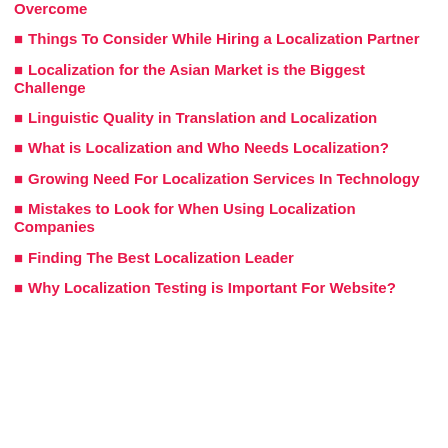Overcome
Things To Consider While Hiring a Localization Partner
Localization for the Asian Market is the Biggest Challenge
Linguistic Quality in Translation and Localization
What is Localization and Who Needs Localization?
Growing Need For Localization Services In Technology
Mistakes to Look for When Using Localization Companies
Finding The Best Localization Leader
Why Localization Testing is Important For Website?